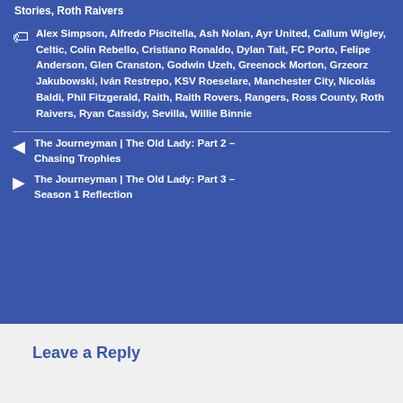Stories, Roth Raivers
Alex Simpson, Alfredo Piscitella, Ash Nolan, Ayr United, Callum Wigley, Celtic, Colin Rebello, Cristiano Ronaldo, Dylan Tait, FC Porto, Felipe Anderson, Glen Cranston, Godwin Uzeh, Greenock Morton, Grzeorz Jakubowski, Iván Restrepo, KSV Roeselare, Manchester City, Nicolás Baldi, Phil Fitzgerald, Raith, Raith Rovers, Rangers, Ross County, Roth Raivers, Ryan Cassidy, Sevilla, Willie Binnie
The Journeyman | The Old Lady: Part 2 – Chasing Trophies
The Journeyman | The Old Lady: Part 3 – Season 1 Reflection
Leave a Reply